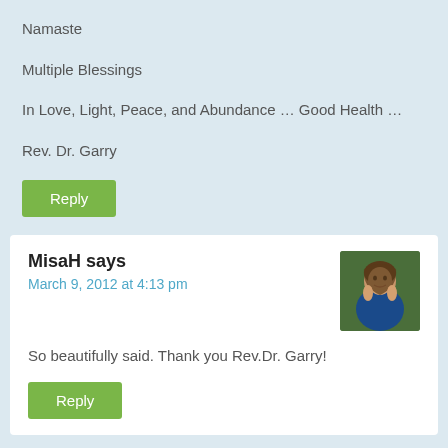Namaste
Multiple Blessings
In Love, Light, Peace, and Abundance … Good Health …
Rev. Dr. Garry
Reply
MisaH says
March 9, 2012 at 4:13 pm
[Figure (photo): Avatar photo of MisaH — a woman smiling, brown hair, blue top, against a green background]
So beautifully said. Thank you Rev.Dr. Garry!
Reply